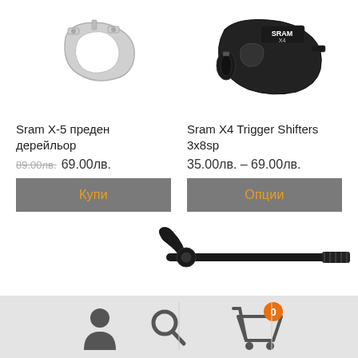[Figure (photo): SRAM X-5 front derailleur product photo, silver metallic]
[Figure (photo): SRAM X4 Trigger Shifter product photo, black]
Sram X-5 преден дерейльор
89.00лв.  69.00лв.
Купи
Sram X4 Trigger Shifters 3x8sp
35.00лв. – 69.00лв.
Опции
[Figure (photo): Bicycle component (appears to be a thru-axle or quick release lever), black, partially visible at bottom right]
Navigation bar with person icon, search icon, and shopping cart icon with badge showing 0